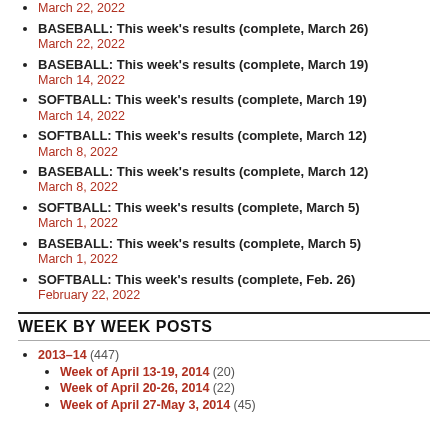March 22, 2022
BASEBALL: This week's results (complete, March 26)
March 22, 2022
BASEBALL: This week's results (complete, March 19)
March 14, 2022
SOFTBALL: This week's results (complete, March 19)
March 14, 2022
SOFTBALL: This week's results (complete, March 12)
March 8, 2022
BASEBALL: This week's results (complete, March 12)
March 8, 2022
SOFTBALL: This week's results (complete, March 5)
March 1, 2022
BASEBALL: This week's results (complete, March 5)
March 1, 2022
SOFTBALL: This week's results (complete, Feb. 26)
February 22, 2022
WEEK BY WEEK POSTS
2013-14 (447)
Week of April 13-19, 2014 (20)
Week of April 20-26, 2014 (22)
Week of April 27-May 3, 2014 (45)